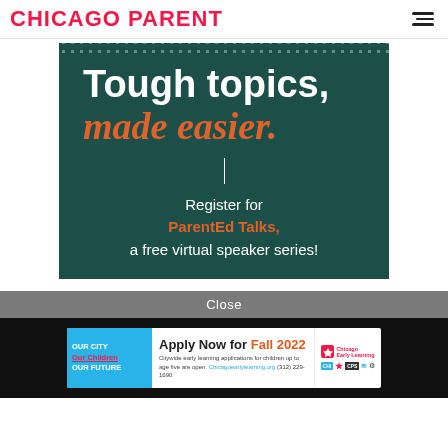CHICAGO PARENT
[Figure (infographic): Dark teal advertisement banner with dotted top border. Large white bold text reads 'Tough topics,' followed by italic orange bold text 'made easier.' Below is a vertical white divider line, then white text 'Register for' followed by bold orange 'ParentEd Talks,' and white text 'a free virtual speaker series!']
Close
[Figure (infographic): Blue and white banner ad on black background. Left section is light blue with text 'OUR CITY / Our Children / OUR FUTURE'. Middle section says 'Apply Now for Fall 2022' with subtext 'Citywide early learning applications for children up to age five are open. Chicagoearlylearning.org (312) 229-1690'. Right section shows Chicago Early Learning logo and partner badges.]